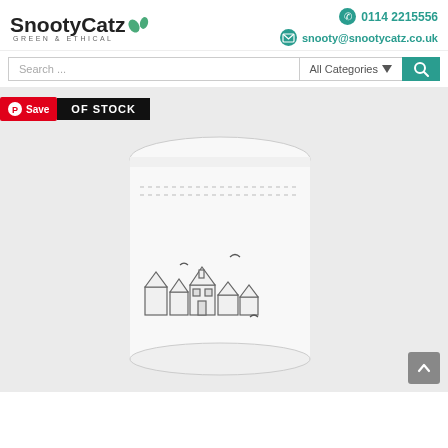[Figure (logo): SnootyCatz Green & Ethical logo with leaf decoration]
0114 2215556
snooty@snootycatz.co.uk
Search ...
All Categories
OF STOCK
Save
[Figure (photo): White ceramic mug with illustrated seaside village scene and birds, on light grey background. Out of stock overlay badge shown.]